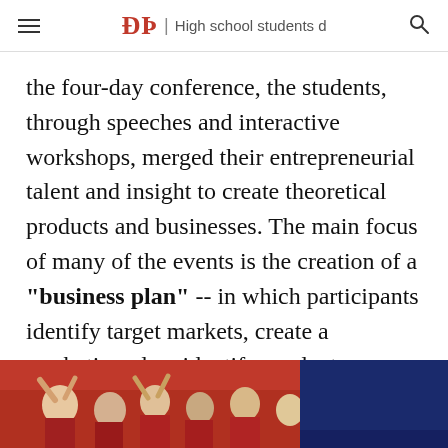DP | High school students d
the four-day conference, the students, through speeches and interactive workshops, merged their entrepreneurial talent and insight to create theoretical products and businesses. The main focus of many of the events is the creation of a "business plan" -- in which participants identify target markets, create a marketing plan, identify product competition, outline management techniques, and provide substantial financial data supporting the implementation of their product or business. Wharton freshman Erica
[Figure (photo): Crowd of students in red shirts cheering, with a dark blue banner in the upper right corner. Appears to be an advertisement banner at the bottom of the page.]